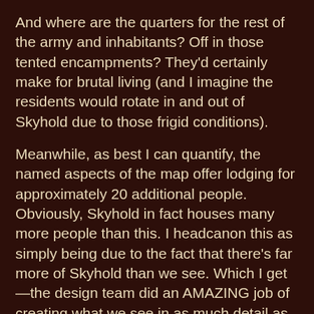And where are the quarters for the rest of the army and inhabitants? Off in those tented encampments? They'd certainly make for brutal living (and I imagine the residents would rotate in and out of Skyhold due to those frigid conditions).
Meanwhile, as best I can quantify, the named aspects of the map offer lodging for approximately 20 additional people. Obviously, Skyhold in fact houses many more people than this. I headcanon this as simply being due to the fact that there's far more of Skyhold than we see. Which I get—the design team did an AMAZING job of creating what we see in as much detail as we get! I'm guessing it probably holds 100 residents easily, and 200 at a pinch.
Missing Rooms and Mysterious Quarters
The little mysterious elements still get me. Who lives